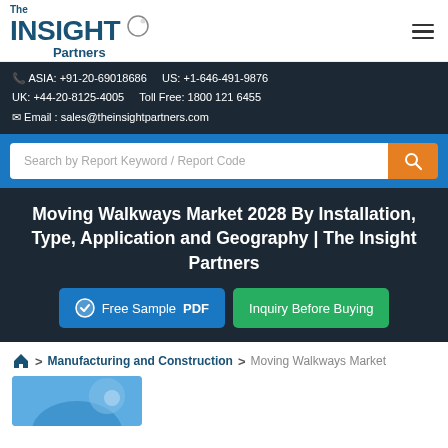[Figure (logo): The Insight Partners logo with circular accent mark]
ASIA: +91-20-69018686    US: +1-646-491-9876
UK: +44-20-8125-4005    Toll Free: 1800 121 6455
Email : sales@theinsightpartners.com
Search by Report Keyword / Report Code
Moving Walkways Market 2028 By Installation, Type, Application and Geography | The Insight Partners
Free Sample PDF
Inquiry Before Buying
> Manufacturing and Construction > Moving Walkways Market
[Figure (photo): Partial image preview at bottom of page, blue toned photo]